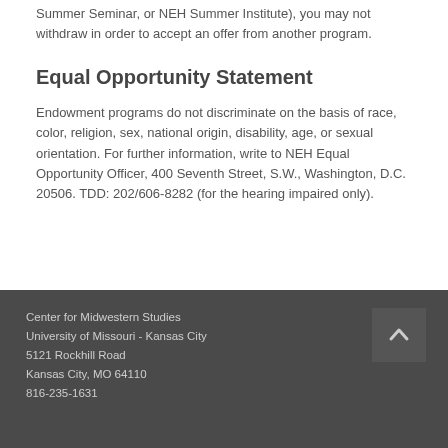Summer Seminar, or NEH Summer Institute), you may not withdraw in order to accept an offer from another program.
Equal Opportunity Statement
Endowment programs do not discriminate on the basis of race, color, religion, sex, national origin, disability, age, or sexual orientation. For further information, write to NEH Equal Opportunity Officer, 400 Seventh Street, S.W., Washington, D.C. 20506. TDD: 202/606-8282 (for the hearing impaired only).
Center for Midwestern Studies
University of Missouri - Kansas City
5121 Rockhill Road
Kansas City, MO 64110
816-235-1631